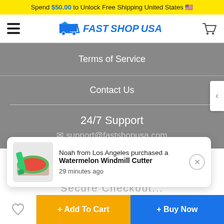Spend $50.00 to Unlock Free Shipping United States 🇺🇸
[Figure (logo): FastShopUSA logo with delivery truck icon and hamburger menu and cart icon]
Terms of Service
Contact Us
24/7 Support
support@fastshopusa.com
Noah from Los Angeles purchased a Watermelon Windmill Cutter
29 minutes ago
10 visitors have this item in their cart right now 🛒
+ Add To Cart   + Buy Now